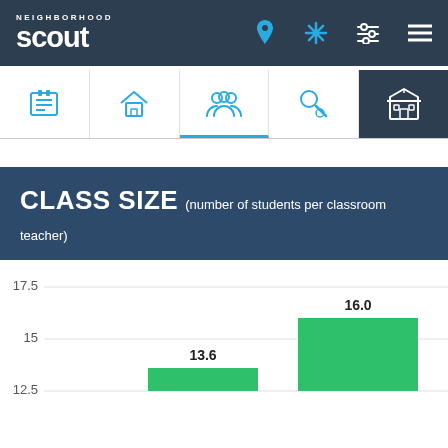Neighborhood Scout - navigation bar with logo and icons
[Figure (screenshot): Navigation tab bar with icons: calendar/list, home, people/community, crime/search, school building (active)]
CLASS SIZE (number of students per classroom teacher)
[Figure (bar-chart): Class Size]